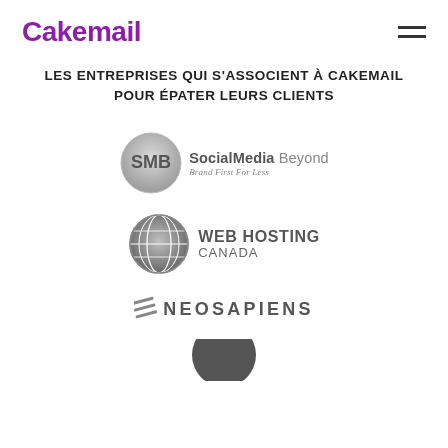Cakemail
LES ENTREPRISES QUI S'ASSOCIENT À CAKEMAIL POUR ÉPATER LEURS CLIENTS
[Figure (logo): SMB SocialMedia Beyond logo — circular grey badge with 'SMB' text, followed by 'SocialMedia Beyond' and tagline 'Brand First For Less']
[Figure (logo): Web Hosting Canada logo — globe/network sphere icon in grey, followed by bold text 'WEB HOSTING' and 'CANADA']
[Figure (logo): Neosapiens logo — stylized diagonal lines icon followed by 'NEOSAPIENS' in spaced uppercase letters]
[Figure (logo): Partially visible logo at bottom of page — appears to be a circular logo, cut off]